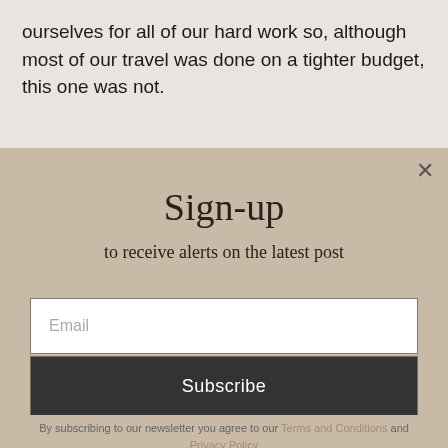ourselves for all of our hard work so, although most of our travel was done on a tighter budget, this one was not.
Sign-up
to receive alerts on the latest post
Email
Subscribe
By subscribing to our newsletter you agree to our Terms and Conditions and Privacy Policy